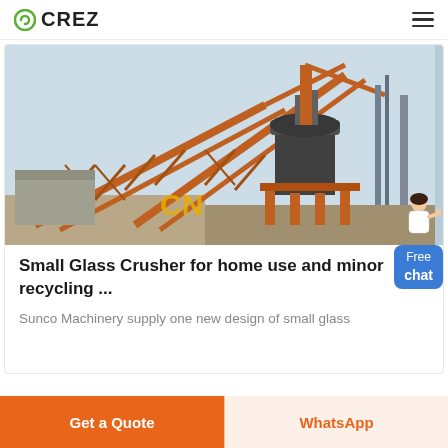CREZ
[Figure (photo): Large industrial crushing/conveyor machine with orange metal framework and conveyor belts at a construction or mining site. CN watermark visible.]
Small Glass Crusher for home use and minor recycling ...
Sunco Machinery supply one new design of small glass crusher, suitable for home use and minor recycling ...